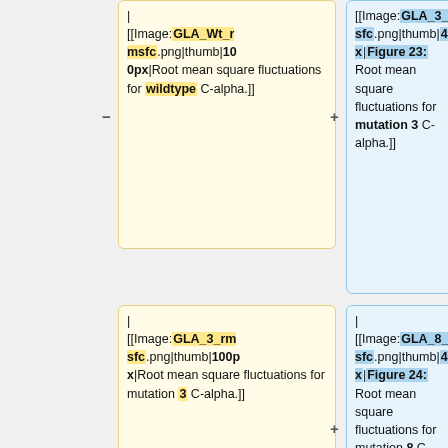| [[Image:GLA_Wt_rmsfc.png|thumb|100px|Root mean square fluctuations for wildtype C-alpha.]]
| [[Image:GLA_3_rmsfc.png|thumb|400px|Figure 23: Root mean square fluctuations for mutation 3 C-alpha.]]
| [[Image:GLA_3_rmsfc.png|thumb|100px|Root mean square fluctuations for mutation 3 C-alpha.]]
| [[Image:GLA_8_rmsfc.png|thumb|400px|Figure 24: Root mean square fluctuations for mutation 8 C-alpha.]]
|-
| [[Image:GLA_8_rmsfc.png|thumb|100px|Root mean square fluctuations for mutation 8 C-alpha.]]